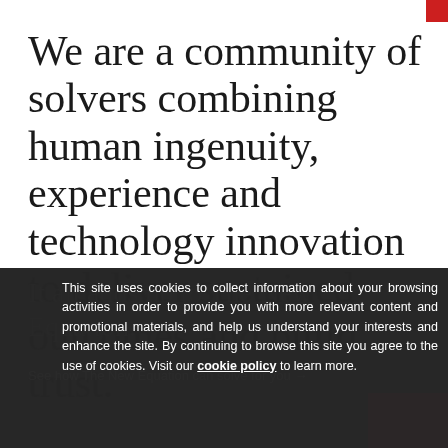We are a community of solvers combining human ingenuity, experience and technology innovation to deliver sustained outcomes and build trust.
It all adds up to The New Equation.
See how The New Equation can solve for you →
This site uses cookies to collect information about your browsing activities in order to provide you with more relevant content and promotional materials, and help us understand your interests and enhance the site. By continuing to browse this site you agree to the use of cookies. Visit our cookie policy to learn more.